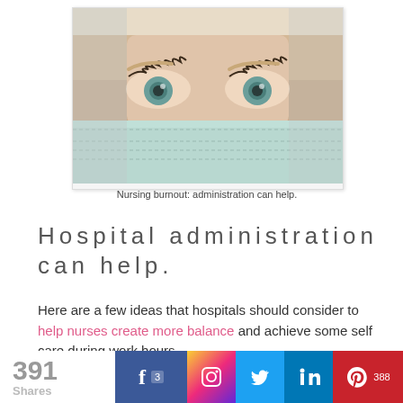[Figure (photo): Close-up photograph of a healthcare worker's eyes above a surgical/medical face mask, with blue-green eyes and light eyebrows visible]
Nursing burnout: administration can help.
Hospital administration can help.
Here are a few ideas that hospitals should consider to help nurses create more balance and achieve some self care during work hours.
391 Shares | 3 | 388